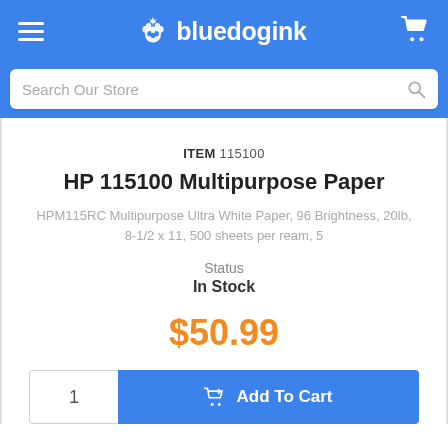bluedogink
Search Our Store
ITEM 115100
HP 115100 Multipurpose Paper
HPM115RC Multipurpose Ultra White Paper, 96 Brightness, 20lb, 8-1/2 x 11, 500 sheets per ream, 5
Status
In Stock
$50.99
1
Add To Cart